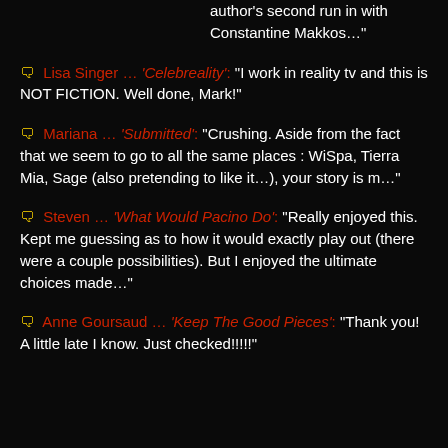author's second run in with Constantine Makkos..."
💬 Lisa Singer ... 'Celebreality': "I work in reality tv and this is NOT FICTION. Well done, Mark!"
💬 Mariana ... 'Submitted': "Crushing. Aside from the fact that we seem to go to all the same places : WiSpa, Tierra Mia, Sage (also pretending to like it...), your story is m..."
💬 Steven ... 'What Would Pacino Do': "Really enjoyed this. Kept me guessing as to how it would exactly play out (there were a couple possibilities). But I enjoyed the ultimate choices made..."
💬 Anne Goursaud ... 'Keep The Good Pieces': "Thank you! A little late I know. Just checked!!!!!"